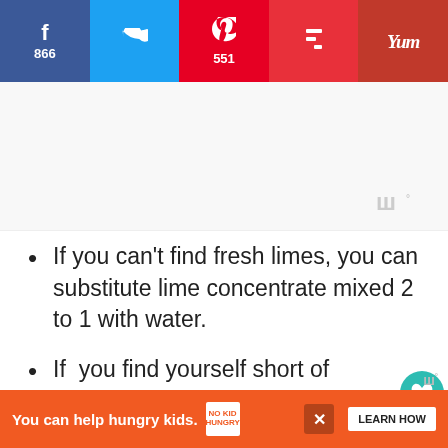[Figure (screenshot): Social media share bar with Facebook (866), Twitter, Pinterest (551), Flipboard, and Yummly buttons]
[Figure (screenshot): Advertisement placeholder image area with Whisk logo watermark in bottom right]
If you can't find fresh limes, you can substitute lime concentrate mixed 2 to 1 with water.
If  you find yourself short of avocados, you can add a few coarsely chopped, seeded tomatoes to make the recipe go further
[Figure (screenshot): Bottom advertisement bar: orange background with 'You can help hungry kids.' No Kid Hungry badge and LEARN HOW button, with close X]